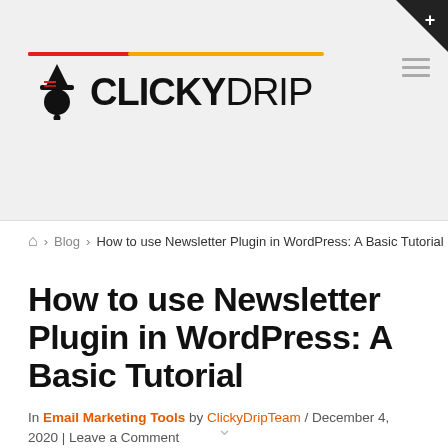[Figure (logo): ClickyDrip logo with witch hat icon and colored bar lines above, on gray background header]
🏠 > Blog > How to use Newsletter Plugin in WordPress: A Basic Tutorial
How to use Newsletter Plugin in WordPress: A Basic Tutorial
In Email Marketing Tools by ClickyDripTeam / December 4, 2020 | Leave a Comment